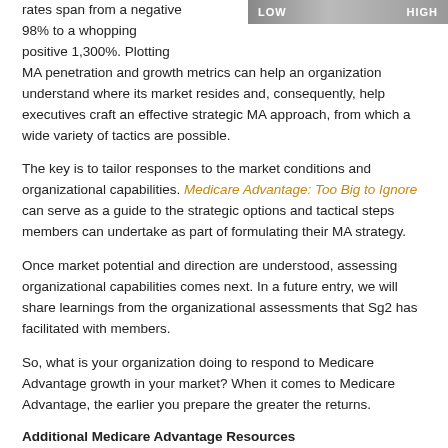rates span from a negative 98% to a whopping positive 1,300%. Plotting MA penetration and growth metrics can help an organization understand where its market resides and, consequently, help executives craft an effective strategic MA approach, from which a wide variety of tactics are possible.
The key is to tailor responses to the market conditions and organizational capabilities. Medicare Advantage: Too Big to Ignore can serve as a guide to the strategic options and tactical steps members can undertake as part of formulating their MA strategy.
Once market potential and direction are understood, assessing organizational capabilities comes next. In a future entry, we will share learnings from the organizational assessments that Sg2 has facilitated with members.
So, what is your organization doing to respond to Medicare Advantage growth in your market? When it comes to Medicare Advantage, the earlier you prepare the greater the returns.
Additional Medicare Advantage Resources